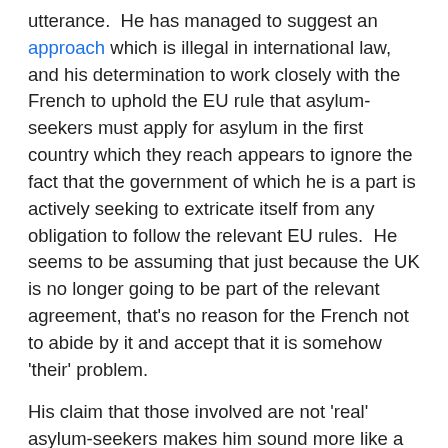utterance. He has managed to suggest an approach which is illegal in international law, and his determination to work closely with the French to uphold the EU rule that asylum-seekers must apply for asylum in the first country which they reach appears to ignore the fact that the government of which he is a part is actively seeking to extricate itself from any obligation to follow the relevant EU rules. He seems to be assuming that just because the UK is no longer going to be part of the relevant agreement, that's no reason for the French not to abide by it and accept that it is somehow 'their' problem.
His claim that those involved are not 'real' asylum-seekers makes him sound more like a railway company blaming 'the wrong type of snow' than a government minister seeking to address the reasons why people put themselves through a perilous journey to reach these shores. I struggle to understand why an attempt to escape poverty in some way makes people less deserving of our assistance than an attempt to escape war – particularly when both poverty and war are largely caused or facilitated by countries such as the UK in the first place – yet it's a distinction which trickles casually from the mouths of people like Javid, who would